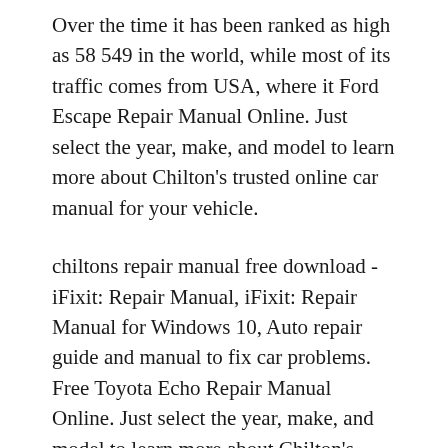Over the time it has been ranked as high as 58 549 in the world, while most of its traffic comes from USA, where it Ford Escape Repair Manual Online. Just select the year, make, and model to learn more about Chilton's trusted online car manual for your vehicle.
chiltons repair manual free download - iFixit: Repair Manual, iFixit: Repair Manual for Windows 10, Auto repair guide and manual to fix car problems. Free Toyota Echo Repair Manual Online. Just select the year, make, and model to learn more about Chilton's trusted online car manual for your vehicle.
Ford Escape Repair Manual Online. Just select the year, make, and model to learn more about